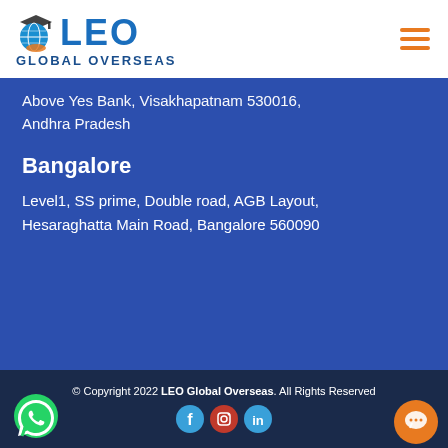LEO GLOBAL OVERSEAS
Above Yes Bank, Visakhapatnam 530016, Andhra Pradesh
Bangalore
Level1, SS prime, Double road, AGB Layout, Hesaraghatta Main Road, Bangalore 560090
© Copyright 2022 LEO Global Overseas. All Rights Reserved